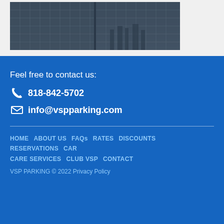[Figure (photo): Aerial cityscape photograph showing skyscraper glass facade and city skyline in dark/moody tones]
Feel free to contact us:
818-842-5702
info@vspparking.com
HOME   ABOUT US   FAQs   RATES   DISCOUNTS   RESERVATIONS   CAR CARE SERVICES   CLUB VSP   CONTACT
VSP PARKING © 2022 Privacy Policy